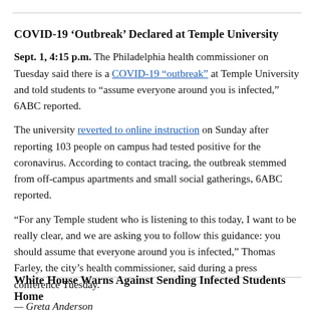COVID-19 ‘Outbreak’ Declared at Temple University
Sept. 1, 4:15 p.m. The Philadelphia health commissioner on Tuesday said there is a COVID-19 “outbreak” at Temple University and told students to “assume everyone around you is infected,” 6ABC reported.
The university reverted to online instruction on Sunday after reporting 103 people on campus had tested positive for the coronavirus. According to contact tracing, the outbreak stemmed from off-campus apartments and small social gatherings, 6ABC reported.
“For any Temple student who is listening to this today, I want to be really clear, and we are asking you to follow this guidance: you should assume that everyone around you is infected,” Thomas Farley, the city’s health commissioner, said during a press conference Tuesday.
— Greta Anderson
White House Warns Against Sending Infected Students Home